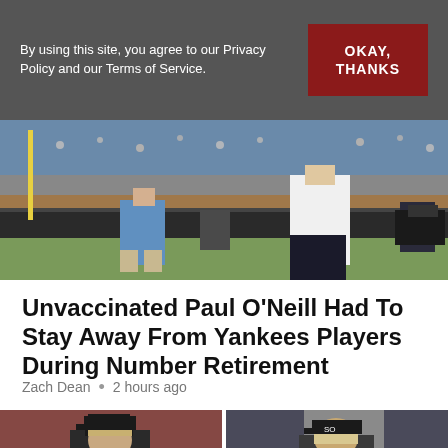By using this site, you agree to our Privacy Policy and our Terms of Service.
OKAY, THANKS
[Figure (photo): Paul O'Neill walking in the dugout area at Yankee Stadium during his number retirement ceremony, with stadium crowd in background]
Unvaccinated Paul O'Neill Had To Stay Away From Yankees Players During Number Retirement
Zach Dean  •  2 hours ago
[Figure (photo): Baseball manager or coach in dugout wearing black cap]
[Figure (photo): Baseball figure wearing Chicago White Sox cap]